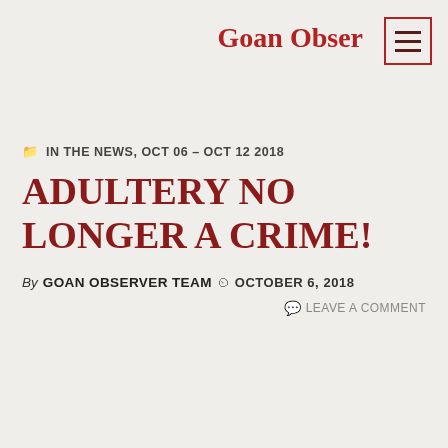Goan Observer
IN THE NEWS, OCT 06 – OCT 12 2018
ADULTERY NO LONGER A CRIME!
By GOAN OBSERVER TEAM  OCTOBER 6, 2018
LEAVE A COMMENT